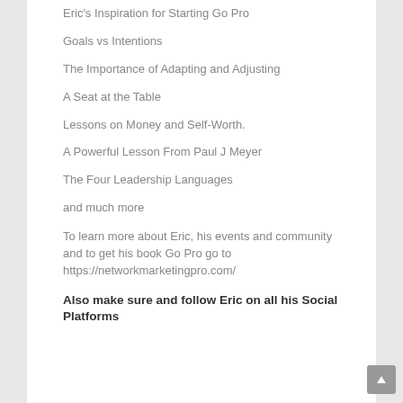Eric's Inspiration for Starting Go Pro
Goals vs Intentions
The Importance of Adapting and Adjusting
A Seat at the Table
Lessons on Money and Self-Worth.
A Powerful Lesson From Paul J Meyer
The Four Leadership Languages
and much more
To learn more about Eric, his events and community and to get his book Go Pro go to https://networkmarketingpro.com/
Also make sure and follow Eric on all his Social Platforms